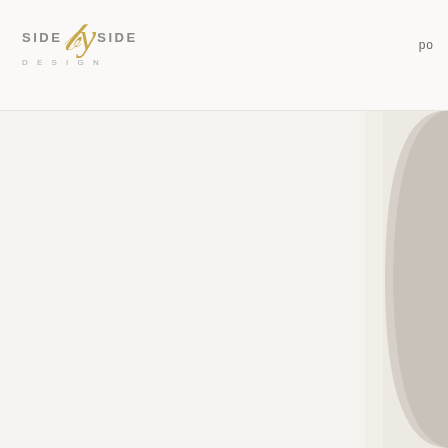SIDE by SIDE DESIGN  po
[Figure (photo): Split image: left panel shows a bright white/off-white background, right panel shows a close-up partial view of a rounded ceramic or stone object in beige/taupe color, cropped at the edge]